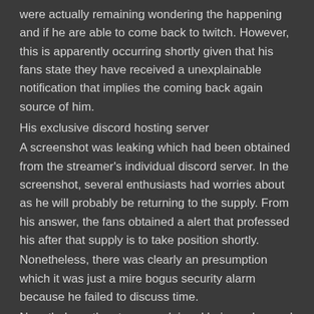were actually remaining wondering the happening and if he are able to come back to twitch. However, this is apparently occurring shortly given that his fans state they have received a unexplainable notification that implies the coming back again source of him.
His exclusive discord hosting server
A screenshot was leaking which had been obtained from the streamer's individual discord server. In the screenshot, several enthusiasts had worries about as he will probably be returning to the supply. From his answer, the fans obtained a alert that professed his after that supply is to take position shortly.
Nonetheless, there was clearly an presumption which it was just a mire bogus security alarm because he failed to discuss time.
Nonetheless, the streamer claimed being sober and in